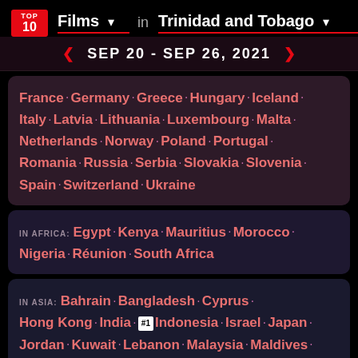TOP 10 Films in Trinidad and Tobago
SEP 20 - SEP 26, 2021
France · Germany · Greece · Hungary · Iceland · Italy · Latvia · Lithuania · Luxembourg · Malta · Netherlands · Norway · Poland · Portugal · Romania · Russia · Serbia · Slovakia · Slovenia · Spain · Switzerland · Ukraine
IN AFRICA: Egypt · Kenya · Mauritius · Morocco · Nigeria · Réunion · South Africa
IN ASIA: Bahrain · Bangladesh · Cyprus · Hong Kong · India · #1 Indonesia · Israel · Japan · Jordan · Kuwait · Lebanon · Malaysia · Maldives · Oman · Pakistan · Philippines · Qatar · Saudi Arabia · Singapore · South Korea · Sri Lanka · Taiwan · Thailand · Turkey ·